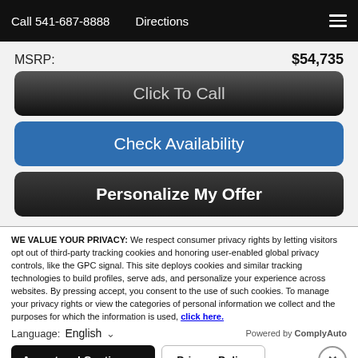Call 541-687-8888   Directions
MSRP:   $54,735
Click To Call
Check Availability
Personalize My Offer
WE VALUE YOUR PRIVACY: We respect consumer privacy rights by letting visitors opt out of third-party tracking cookies and honoring user-enabled global privacy controls, like the GPC signal. This site deploys cookies and similar tracking technologies to build profiles, serve ads, and personalize your experience across websites. By pressing accept, you consent to the use of such cookies. To manage your privacy rights or view the categories of personal information we collect and the purposes for which the information is used, click here.
Language:  English  ∨   Powered by ComplyAuto
Accept and Continue →   Privacy Policy   ×